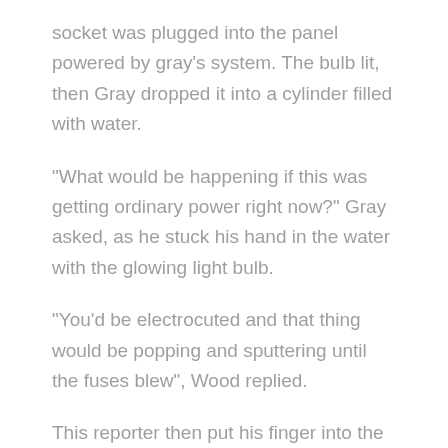socket was plugged into the panel powered by gray's system. The bulb lit, then Gray dropped it into a cylinder filled with water.
"What would be happening if this was getting ordinary power right now?" Gray asked, as he stuck his hand in the water with the glowing light bulb.
"You'd be electrocuted and that thing would be popping and sputtering until the fuses blew", Wood replied.
This reporter then put his finger into the water with the light — no shock.
"Gentlemen, this is a new manifestation of electricity",